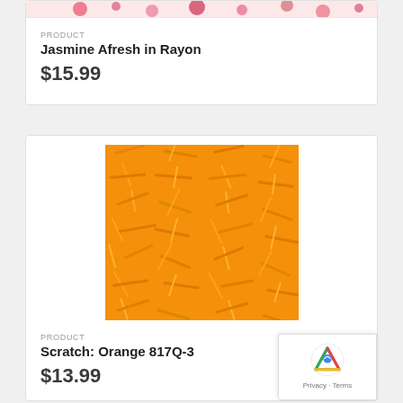[Figure (photo): Partial view of floral fabric pattern in pink/red tones (Jasmine Afresh in Rayon)]
PRODUCT
Jasmine Afresh in Rayon
$15.99
[Figure (photo): Orange batik fabric with scratch/crosshatch texture pattern (Scratch: Orange 817Q-3)]
PRODUCT
Scratch: Orange 817Q-3
$13.99